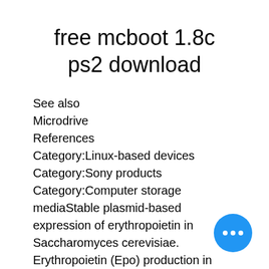free mcboot 1.8c ps2 download
See also
Microdrive
References
Category:Linux-based devices
Category:Sony products
Category:Computer storage mediaStable plasmid-based expression of erythropoietin in Saccharomyces cerevisiae. Erythropoietin (Epo) production in yeast has been reported in the literature, but the levels of Epo reported in the literature are well below what is required for therapeutic u... the blood. We report here on the crea... a stably integrated plasmid which can be ...